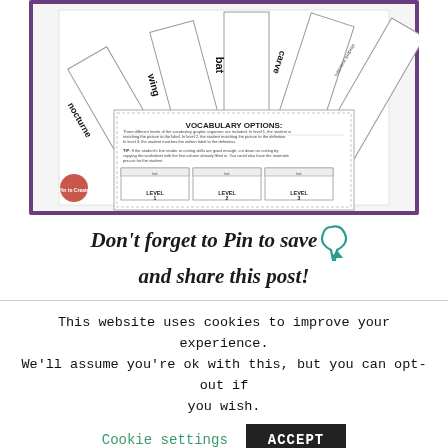[Figure (photo): Educational worksheet image showing vocabulary cards with words like 'nocturne', 'wing', 'bat', 'carve', along with a worksheet titled 'VOCABULARY OPTIONS' showing three levels of vocabulary practice activities.]
Don't forget to Pin to save and share this post!
This website uses cookies to improve your experience. We'll assume you're ok with this, but you can opt-out if you wish.
Cookie settings
ACCEPT